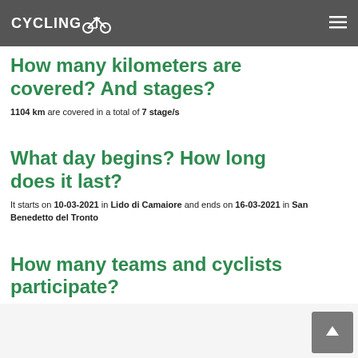CYCLINGOO
How many kilometers are covered? And stages?
1104 km are covered in a total of 7 stage/s
What day begins? How long does it last?
It starts on 10-03-2021 in Lido di Camaiore and ends on 16-03-2021 in San Benedetto del Tronto
How many teams and cyclists participate?